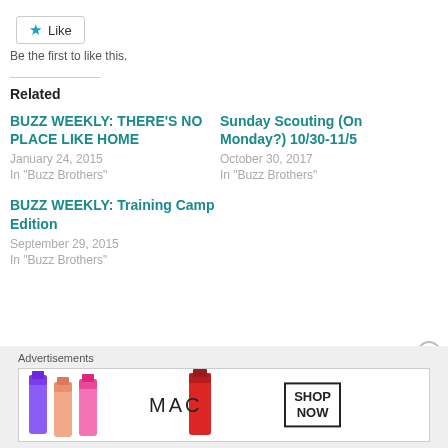Like
Be the first to like this.
Related
BUZZ WEEKLY: THERE'S NO PLACE LIKE HOME
January 24, 2015
In "Buzz Brothers"
Sunday Scouting (On Monday?) 10/30-11/5
October 30, 2017
In "Buzz Brothers"
BUZZ WEEKLY: Training Camp Edition
September 29, 2015
In "Buzz Brothers"
Advertisements
[Figure (other): MAC cosmetics advertisement banner showing lipsticks and SHOP NOW button]